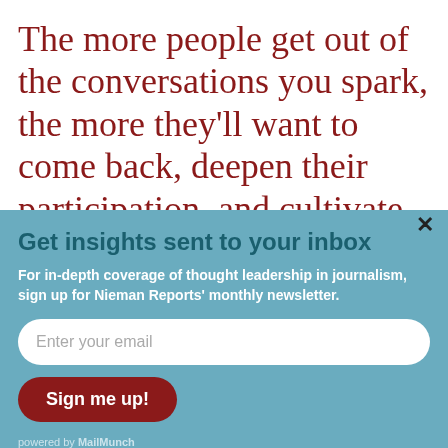The more people get out of the conversations you spark, the more they'll want to come back, deepen their participation, and cultivate their connections with
[Figure (screenshot): Modal popup with light blue background overlaying the article text. Contains a close button (×), heading 'Get insights sent to your inbox', description text, email input field, and Sign me up! button. Powered by MailMunch footer.]
Get insights sent to your inbox
For in-depth coverage of thought leadership in journalism, sign up for Nieman Reports' monthly newsletter.
Enter your email
Sign me up!
powered by MailMunch